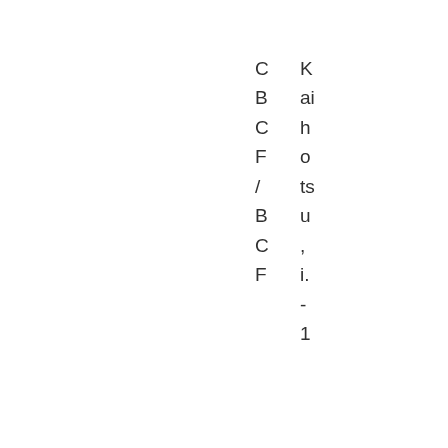[Figure (table-as-image): Partial view of a multi-column table. Visible text in the left column partial region shows single letters: C, B, C, F, /, B, C, F. Middle column shows partial characters. Right column shows text reading vertically: K, ai, h, o, ts, u, ',', i., -, 1]